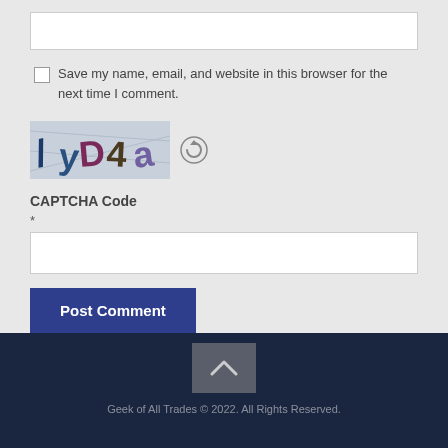[Figure (screenshot): URL/website input text field (white box)]
Save my name, email, and website in this browser for the next time I comment.
[Figure (screenshot): CAPTCHA image showing distorted text: /yD4 a, with a refresh button icon]
CAPTCHA Code
*
[Figure (screenshot): CAPTCHA code input text field (white box)]
[Figure (screenshot): Post Comment button (dark blue)]
Geek of All Trades © 2022. All Rights Reserved.